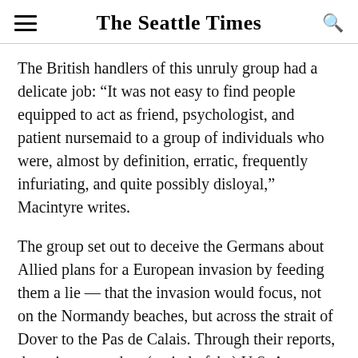The Seattle Times
The British handlers of this unruly group had a delicate job: “It was not easy to find people equipped to act as friend, psychologist, and patient nursemaid to a group of individuals who were, almost by definition, erratic, frequently infuriating, and quite possibly disloyal,” Macintyre writes.
The group set out to deceive the Germans about Allied plans for a European invasion by feeding them a lie — that the invasion would focus, not on the Normandy beaches, but across the strait of Dover to the Pas de Calais. Through their reports, the spies created an (entirely fake) U.S. Army group in southeast England, and also perpetrated the fiction that an Allied force massed in Scotland would